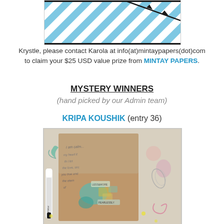[Figure (photo): Cropped top portion of a craft/scrapbooking artwork with blue and white diagonal stripes and a black star element]
Krystle, please contact Karola at info(at)mintaypapers(dot)com to claim your $25 USD value prize from MINTAY PAPERS.
MYSTERY WINNERS
(hand picked by our Admin team)
KRIPA KOUSHIK (entry 36)
[Figure (photo): Craft/junk journal artwork by Kripa Koushik featuring mixed media collage with handwriting, floral elements, teal and pink decorations, and a white Posca marker pen]